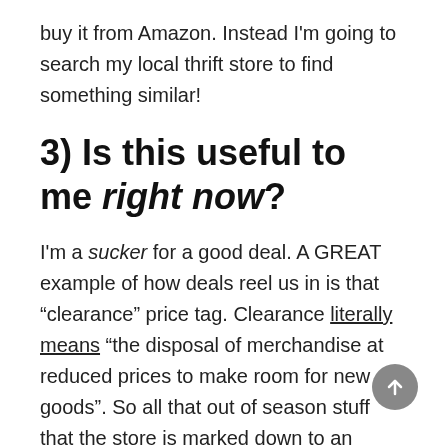buy it from Amazon. Instead I'm going to search my local thrift store to find something similar!
3) Is this useful to me right now?
I'm a sucker for a good deal. A GREAT example of how deals reel us in is that “clearance” price tag. Clearance literally means “the disposal of merchandise at reduced prices to make room for new goods”. So all that out of season stuff that the store is marked down to an irresistible price so you buy it for your future self next year.
Get out of the habit of buying items for your